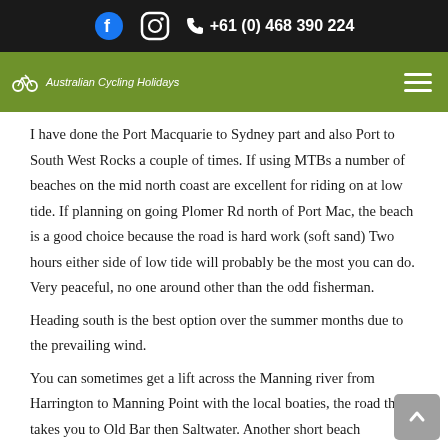+61 (0) 468 390 224
[Figure (logo): Australian Cycling Holidays logo and navigation bar with hamburger menu on green background]
I have done the Port Macquarie to Sydney part and also Port to South West Rocks a couple of times. If using MTBs a number of beaches on the mid north coast are excellent for riding on at low tide. If planning on going Plomer Rd north of Port Mac, the beach is a good choice because the road is hard work (soft sand) Two hours either side of low tide will probably be the most you can do. Very peaceful, no one around other than the odd fisherman.
Heading south is the best option over the summer months due to the prevailing wind.
You can sometimes get a lift across the Manning river from Harrington to Manning Point with the local boaties, the road then takes you to Old Bar then Saltwater. Another short beach